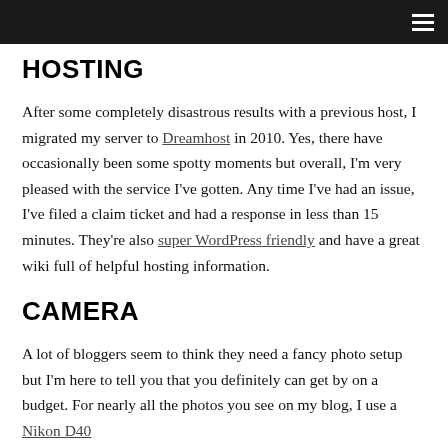≡
HOSTING
After some completely disastrous results with a previous host, I migrated my server to Dreamhost in 2010. Yes, there have occasionally been some spotty moments but overall, I'm very pleased with the service I've gotten. Any time I've had an issue, I've filed a claim ticket and had a response in less than 15 minutes. They're also super WordPress friendly and have a great wiki full of helpful hosting information.
CAMERA
A lot of bloggers seem to think they need a fancy photo setup but I'm here to tell you that you definitely can get by on a budget. For nearly all the photos you see on my blog, I use a Nikon D40